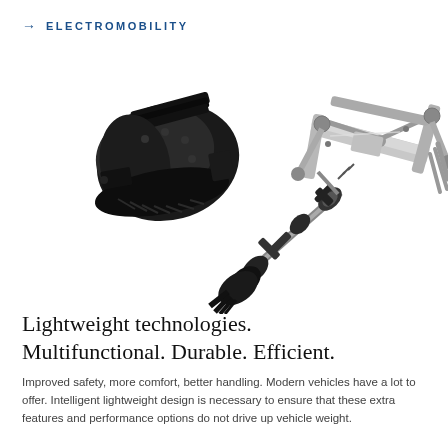→ ELECTROMOBILITY
[Figure (photo): Exploded view of automotive electromobility drivetrain components including a black electric motor/gearbox assembly on the left, a driveshaft in the center, and a silver/aluminum suspension subframe on the right, shown on white background.]
Lightweight technologies. Multifunctional. Durable. Efficient.
Improved safety, more comfort, better handling. Modern vehicles have a lot to offer. Intelligent lightweight design is necessary to ensure that these extra features and performance options do not drive up vehicle weight.